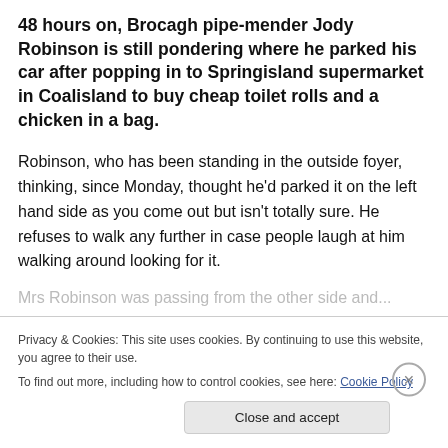48 hours on, Brocagh pipe-mender Jody Robinson is still pondering where he parked his car after popping in to Springisland supermarket in Coalisland to buy cheap toilet rolls and a chicken in a bag.
Robinson, who has been standing in the outside foyer, thinking, since Monday, thought he'd parked it on the left hand side as you come out but isn't totally sure. He refuses to walk any further in case people laugh at him walking around looking for it.
Privacy & Cookies: This site uses cookies. By continuing to use this website, you agree to their use.
To find out more, including how to control cookies, see here: Cookie Policy